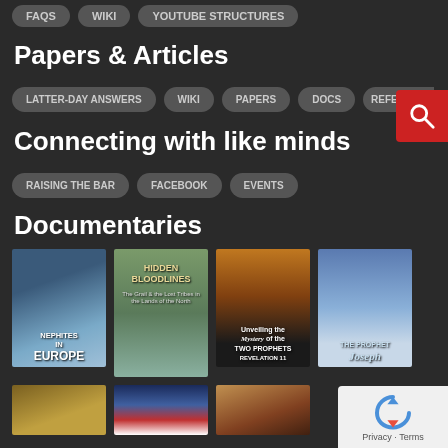FAQs | WIKI | YOUTUBE STRUCTURES (partial)
Papers & Articles
LATTER-DAY ANSWERS
WIKI
PAPERS
DOCS
REFERENCE (partial)
Connecting with like minds
RAISING THE BAR
FACEBOOK
EVENTS
Documentaries
[Figure (illustration): Documentary cover: Nephites in Europe]
[Figure (illustration): Documentary cover: Hidden Bloodlines - The Grail & the Lost Tribes in the Lands of the North]
[Figure (illustration): Documentary cover: Unveiling the Mystery of the Two Prophets - Revelation 11]
[Figure (illustration): Documentary cover: The Prophet Joseph]
[Figure (illustration): Documentary cover (partial bottom row 1)]
[Figure (illustration): Documentary cover (partial bottom row 2, American flag theme)]
[Figure (illustration): Documentary cover (partial bottom row 3)]